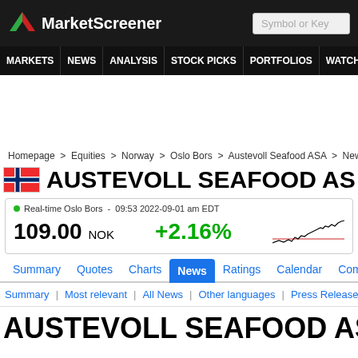MarketScreener
MARKETS  NEWS  ANALYSIS  STOCK PICKS  PORTFOLIOS  WATCHLI...
Homepage > Equities > Norway > Oslo Bors > Austevoll Seafood ASA > News >
AUSTEVOLL SEAFOOD ASA
Real-time Oslo Bors - 09:53 2022-09-01 am EDT
109.00 NOK  +2.16%
[Figure (line-chart): Small sparkline/line chart showing stock price movement trending upward with a red baseline]
Summary  Quotes  Charts  News  Ratings  Calendar  Company
Summary | Most relevant | All News | Other languages | Press Release
AUSTEVOLL SEAFOOD ASA